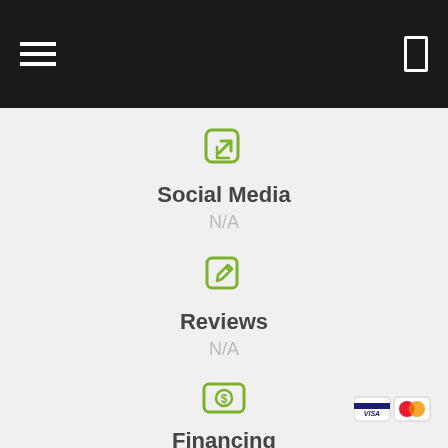Navigation bar with hamburger menu and window icon
[Figure (illustration): Green share/export icon (rounded square with arrow pointing up-right)]
Social Media
N/A
[Figure (illustration): Green edit/pencil icon (square with pencil overlay)]
Reviews
N/A
[Figure (illustration): Green dollar bill / money icon (rounded rectangle with dollar sign)]
Financing
[Figure (illustration): Visa and Mastercard payment icons at bottom right]